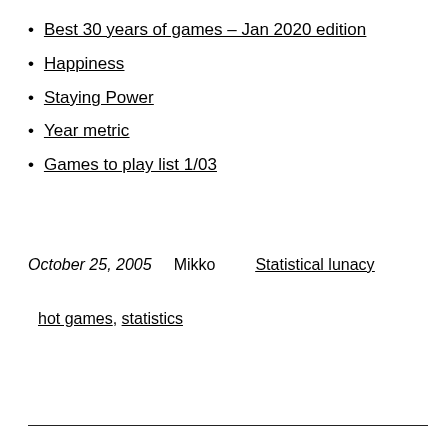Best 30 years of games – Jan 2020 edition
Happiness
Staying Power
Year metric
Games to play list 1/03
October 25, 2005    Mikko    Statistical lunacy
hot games, statistics